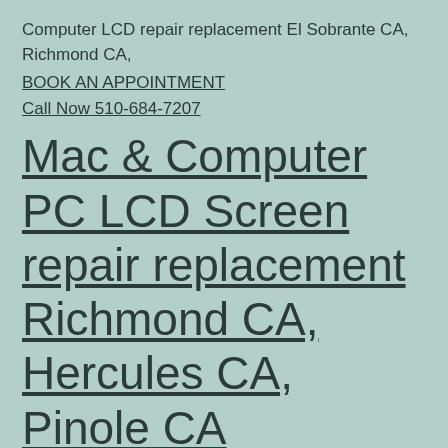Computer LCD repair replacement El Sobrante CA, Richmond CA,
BOOK AN APPOINTMENT
Call Now 510-684-7207
Mac & Computer PC LCD Screen repair replacement Richmond CA, Hercules CA, Pinole CA
Call Now 510-684-7207
Laptop screen repair replacement, Mac &